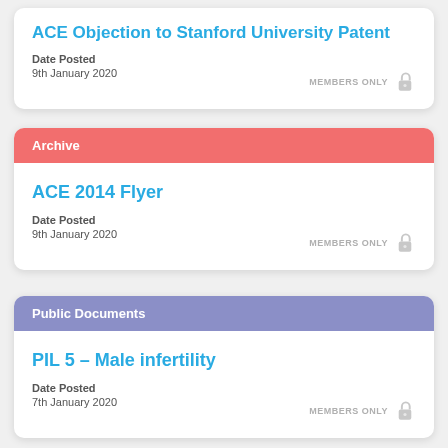ACE Objection to Stanford University Patent
Date Posted
9th January 2020
Archive
ACE 2014 Flyer
Date Posted
9th January 2020
Public Documents
PIL 5 – Male infertility
Date Posted
7th January 2020